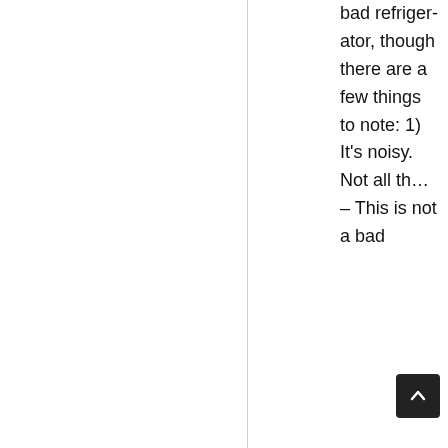bad refrigerator, though there are a few things to note: 1) It's noisy. Not all th… – This is not a bad